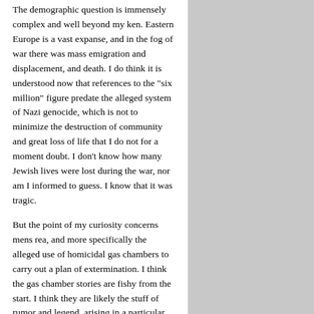The demographic question is immensely complex and well beyond my ken. Eastern Europe is a vast expanse, and in the fog of war there was mass emigration and displacement, and death. I do think it is understood now that references to the "six million" figure predate the alleged system of Nazi genocide, which is not to minimize the destruction of community and great loss of life that I do not for a moment doubt. I don't know how many Jewish lives were lost during the war, nor am I informed to guess. I know that it was tragic.
But the point of my curiosity concerns mens rea, and more specifically the alleged use of homicidal gas chambers to carry out a plan of extermination. I think the gas chamber stories are fishy from the start. I think they are likely the stuff of rumor and legend, arising in a particular time and place for reasons that are contextually understandable. In my next